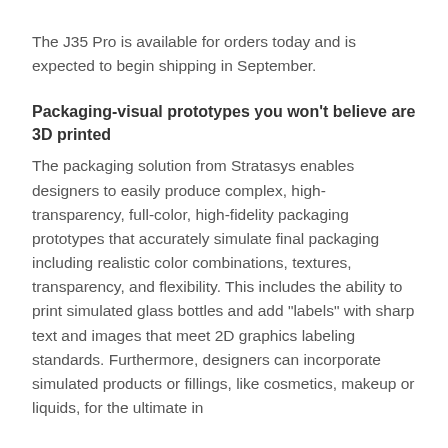The J35 Pro is available for orders today and is expected to begin shipping in September.
Packaging-visual prototypes you won't believe are 3D printed
The packaging solution from Stratasys enables designers to easily produce complex, high-transparency, full-color, high-fidelity packaging prototypes that accurately simulate final packaging including realistic color combinations, textures, transparency, and flexibility. This includes the ability to print simulated glass bottles and add "labels" with sharp text and images that meet 2D graphics labeling standards. Furthermore, designers can incorporate simulated products or fillings, like cosmetics, makeup or liquids, for the ultimate in